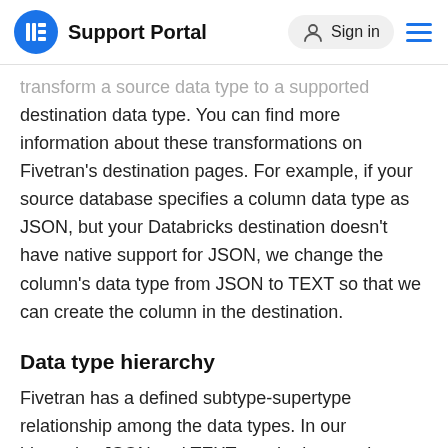Support Portal  Sign in
transform a source data type to a supported destination data type. You can find more information about these transformations on Fivetran's destination pages. For example, if your source database specifies a column data type as JSON, but your Databricks destination doesn't have native support for JSON, we change the column's data type from JSON to TEXT so that we can create the column in the destination.
Data type hierarchy
Fivetran has a defined subtype-supertype relationship among the data types. In our hierarchy, JSON and TEXT are the largest data types. Moving downward, every subsequent data